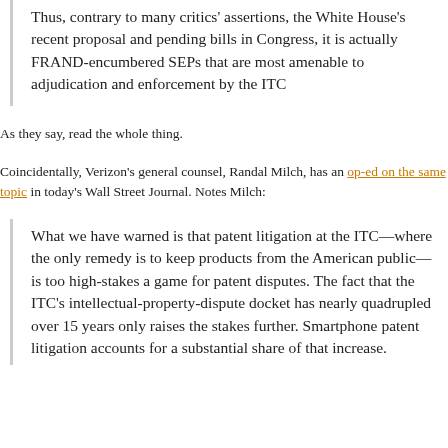Thus, contrary to many critics' assertions, the White House's recent proposal and pending bills in Congress, it is actually FRAND-encumbered SEPs that are most amenable to adjudication and enforcement by the ITC
As they say, read the whole thing.
Coincidentally, Verizon's general counsel, Randal Milch, has an op-ed on the same topic in today's Wall Street Journal. Notes Milch:
What we have warned is that patent litigation at the ITC—where the only remedy is to keep products from the American public—is too high-stakes a game for patent disputes. The fact that the ITC's intellectual-property-dispute docket has nearly quadrupled over 15 years only raises the stakes further. Smartphone patent litigation accounts for a substantial share of that increase.